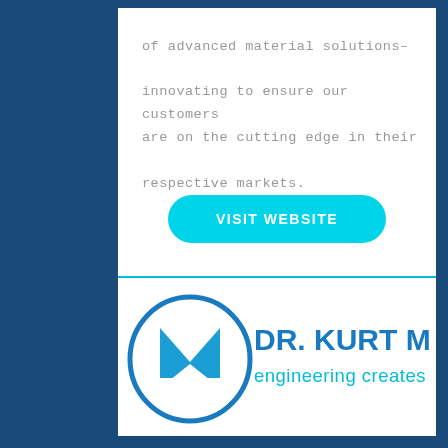of advanced material solutions– innovating to ensure our customers are on the cutting edge in their respective markets.
[Figure (other): Cyan rounded-rectangle button with white bold text reading VISIT WEBSITE]
[Figure (logo): Dr. Kurt Müller logo with stylized M in oval and text 'DR. KURT MÜLLER engineering creates sound' in cyan/blue]